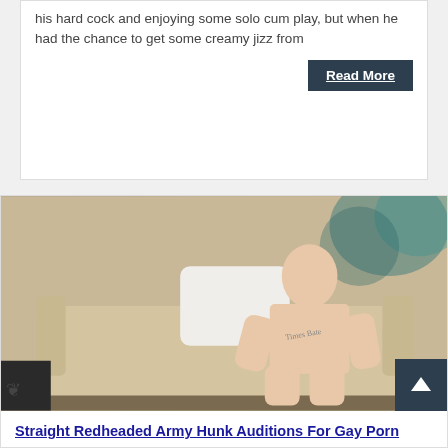his hard cock and enjoying some solo cum play, but when he had the chance to get some creamy jizz from
Read More
[Figure (photo): Young redheaded man sitting nude on a beige couch with a chest tattoo, photographed indoors]
Straight Redheaded Army Hunk Auditions For Gay Porn